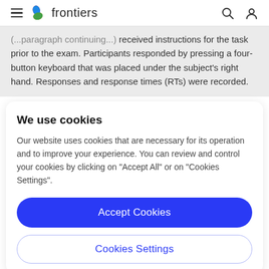frontiers
received instructions for the task prior to the exam. Participants responded by pressing a four-button keyboard that was placed under the subject's right hand. Responses and response times (RTs) were recorded.
We use cookies
Our website uses cookies that are necessary for its operation and to improve your experience. You can review and control your cookies by clicking on "Accept All" or on "Cookies Settings".
Accept Cookies
Cookies Settings